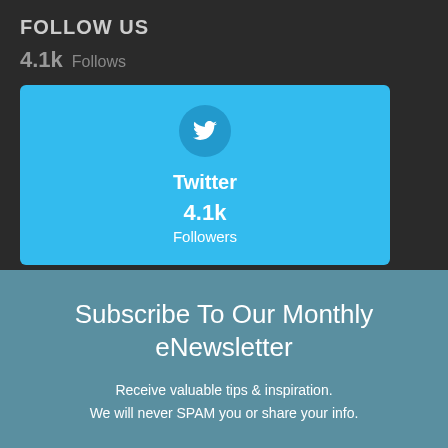FOLLOW US
4.1k Follows
[Figure (infographic): Twitter social media follow widget showing Twitter bird icon in a circle, platform name 'Twitter', follower count '4.1k', and label 'Followers' on a light blue background card]
Subscribe To Our Monthly eNewsletter
Receive valuable tips & inspiration.
We will never SPAM you or share your info.